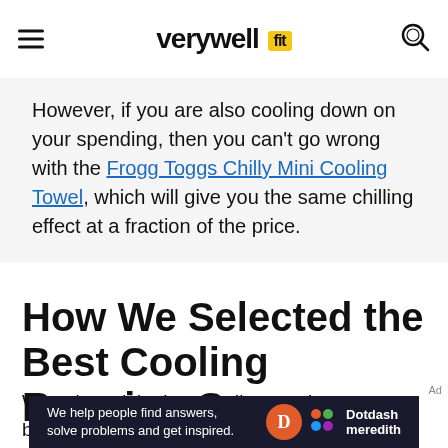verywellfit
However, if you are also cooling down on your spending, then you can't go wrong with the Frogg Toggs Chilly Mini Cooling Towel, which will give you the same chilling effect at a fraction of the price.
How We Selected the Best Cooling Running Gear
We selected the best cooling running gear based on a few different criteria. First, our expert
[Figure (screenshot): Dotdash Meredith ad banner: 'We help people find answers, solve problems and get inspired.']